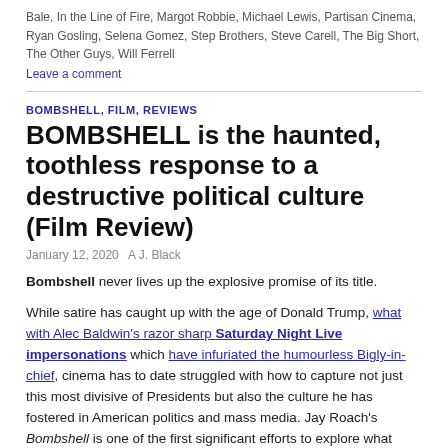Bale, In the Line of Fire, Margot Robbie, Michael Lewis, Partisan Cinema, Ryan Gosling, Selena Gomez, Step Brothers, Steve Carell, The Big Short, The Other Guys, Will Ferrell
Leave a comment
BOMBSHELL, FILM, REVIEWS
BOMBSHELL is the haunted, toothless response to a destructive political culture (Film Review)
January 12, 2020   A J. Black
Bombshell never lives up the explosive promise of its title.
While satire has caught up with the age of Donald Trump, what with Alec Baldwin's razor sharp Saturday Night Live impersonations which have infuriated the humourless Bigly-in-chief, cinema has to date struggled with how to capture not just this most divisive of Presidents but also the culture he has fostered in American politics and mass media. Jay Roach's Bombshell is one of the first significant efforts to explore what